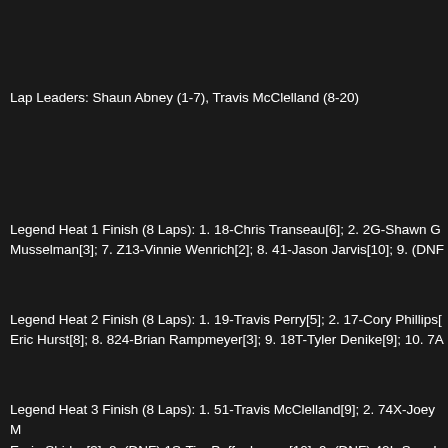Lap Leaders: Shaun Abney (1-7), Travis McClelland (8-20)
Legend Heat 1 Finish (8 Laps): 1. 18-Chris Transeau[6]; 2. 2G-Shawn G... Musselman[3]; 7. Z13-Vinnie Wenrich[2]; 8. 41-Jason Jarvis[10]; 9. (DNF...
Legend Heat 2 Finish (8 Laps): 1. 19-Travis Perry[5]; 2. 17-Cory Phillips[... Eric Hurst[8]; 8. 824-Brian Rampmeyer[3]; 9. 18T-Tyler Denike[9]; 10. 7A...
Legend Heat 3 Finish (8 Laps): 1. 51-Travis McClelland[9]; 2. 74X-Joey M... Ernie Shirley[3]; 8. (DNF) 1S-Tim Poffenberger[10]; 9. (DNF) 42L-Sam L...
Legend Heat 4 Finish (8 Laps): 1. 53-Bill Diehl[5]; 2. 26-Shaun Abney[1];... 63-Dave Benner[8]; 8. (DNF) 18J-Jorjie Anna Sweger[2]; 9. (DNF) 4J-Ch...
Legend Consi #1 Finish (8 Laps): 1. 11R-Scott Musselman[1]; 2. Z13-Vir... Jarvis; 7. (DNS) 1S-Tim Poffenberger; 8. (DNS) 42L-Sam Lamb; 9. (DNS...